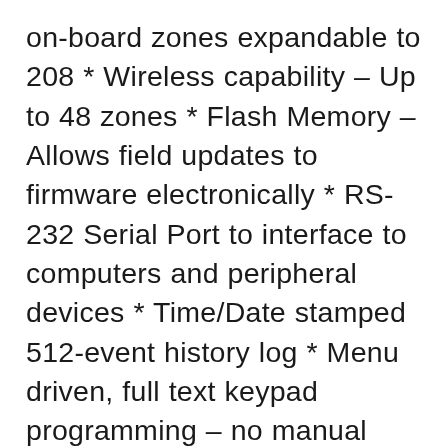on-board zones expandable to 208 * Wireless capability – Up to 48 zones * Flash Memory – Allows field updates to firmware electronically * RS-232 Serial Port to interface to computers and peripheral devices * Time/Date stamped 512-event history log * Menu driven, full text keypad programming – no manual required * Voice Announcement of alarms, zone descriptions, status, etc. * 13 On-board Outputs: 1 voice/siren, 1 siren